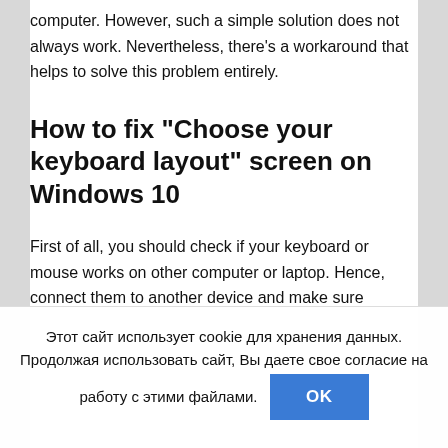computer. However, such a simple solution does not always work. Nevertheless, there’s a workaround that helps to solve this problem entirely.
How to fix “Choose your keyboard layout” screen on Windows 10
First of all, you should check if your keyboard or mouse works on other computer or laptop. Hence, connect them to another device and make sure
Этот сайт использует cookie для хранения данных. Продолжая использовать сайт, Вы даете свое согласие на работу с этими файлами.